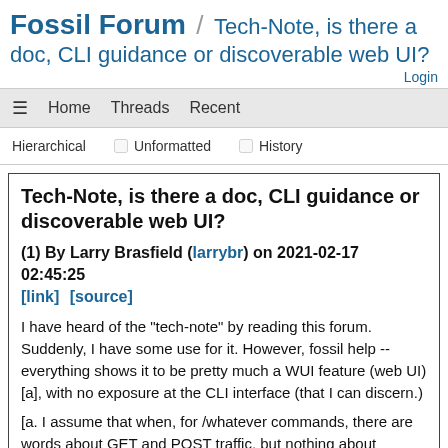Fossil Forum / Tech-Note, is there a doc, CLI guidance or discoverable web UI?
Login
≡  Home  Threads  Recent
Hierarchical  □ Unformatted  □ History
Tech-Note, is there a doc, CLI guidance or discoverable web UI?
(1) By Larry Brasfield (larrybr) on 2021-02-17 02:45:25
[link] [source]
I have heard of the "tech-note" by reading this forum. Suddenly, I have some use for it. However, fossil help --everything shows it to be pretty much a WUI feature (web UI) [a], with no exposure at the CLI interface (that I can discern.)
[a. I assume that when, for /whatever commands, there are words about GET and POST traffic, but nothing about